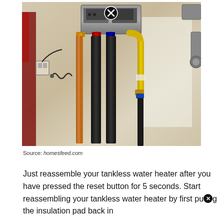[Figure (photo): Photo of a tankless water heater installation on a wall, showing copper and black pipes, yellow flexible gas hose, and the unit mounted on the wall. A circular close/X button overlay appears at the top center of the image.]
Source: homesfeed.com
Just reassemble your tankless water heater after you have pressed the reset button for 5 seconds. Start reassembling your tankless water heater by first pug the insulation pad back in